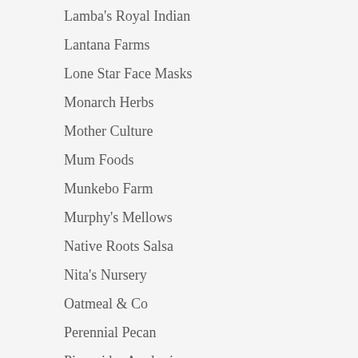Lamba's Royal Indian
Lantana Farms
Lone Star Face Masks
Monarch Herbs
Mother Culture
Mum Foods
Munkebo Farm
Murphy's Mellows
Native Roots Salsa
Nita's Nursery
Oatmeal & Co
Perennial Pecan
Pierogi by Apolonia
Poochie Trends
Pure Luck Dairy
Rancho Martinez Kitchen
Respect Your Elderberries